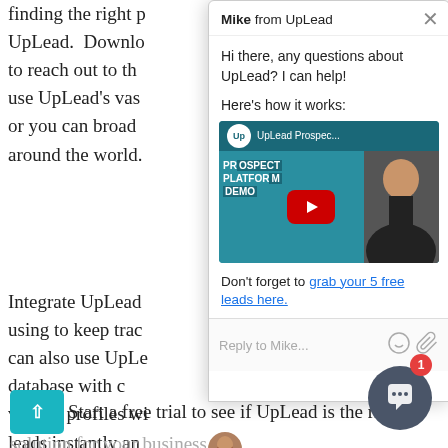finding the right p
UpLead. Downlo
to reach out to th
use UpLead's vas
or you can broad
around the world.
[Figure (screenshot): Chat widget popup from Mike at UpLead with greeting text, YouTube video thumbnail for UpLead Prospect Platform Demo, and a link to grab 5 free leads. Below is a reply input bar.]
Integrate UpLead
using to keep trac
can also use UpLe
database with c
vibrant profiles wi
leads instantly an
process.
Start a free trial to see if UpLead is the right solution for your business.